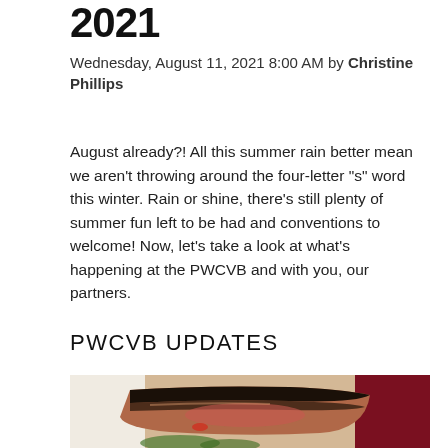2021
Wednesday, August 11, 2021 8:00 AM by Christine Phillips
August already?! All this summer rain better mean we aren't throwing around the four-letter "s" word this winter. Rain or shine, there's still plenty of summer fun left to be had and conventions to welcome! Now, let's take a look at what's happening at the PWCVB and with you, our partners.
PWCVB UPDATES
[Figure (photo): Photo of pepper-crusted seared meat (tuna or beef) on a plate, with a dark red background on the right side.]